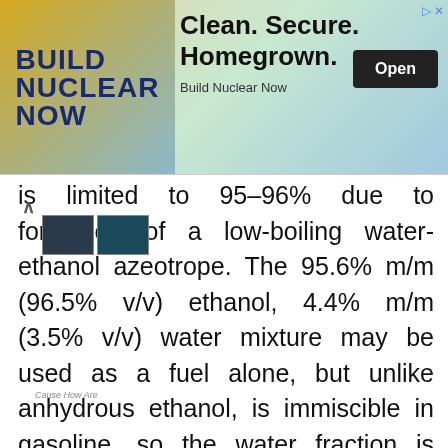[Figure (screenshot): Advertisement banner for 'Build Nuclear Now' with headline 'Clean. Secure. Homegrown.' and an Open button]
is limited to 95-96% due to formation of a low-boiling water-ethanol azeotrope. The 95.6% m/m (96.5% v/v) ethanol, 4.4% m/m (3.5% v/v) water mixture may be used as a fuel alone, but unlike anhydrous ethanol, is immiscible in gasoline, so the water fraction is typically removed in further treatment in order to burn in combination with gasoline in gasoline engines.